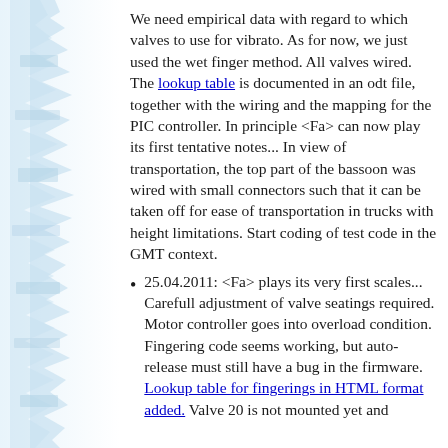[Figure (illustration): Left margin decorative element showing a waveform or signal visualization in light blue tones]
We need empirical data with regard to which valves to use for vibrato. As for now, we just used the wet finger method. All valves wired. The lookup table is documented in an odt file, together with the wiring and the mapping for the PIC controller. In principle <Fa> can now play its first tentative notes... In view of transportation, the top part of the bassoon was wired with small connectors such that it can be taken off for ease of transportation in trucks with height limitations. Start coding of test code in the GMT context.
25.04.2011: <Fa> plays its very first scales... Carefull adjustment of valve seatings required. Motor controller goes into overload condition. Fingering code seems working, but auto-release must still have a bug in the firmware. Lookup table for fingerings in HTML format added. Valve 20 is not mounted yet and